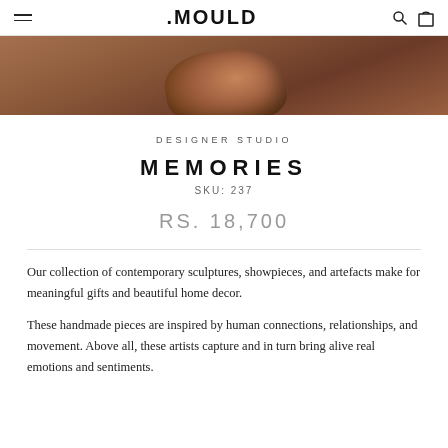MOULD
[Figure (photo): Partial view of a textured contemporary sculpture in earthy reddish-brown tones against a light grey background, viewed from below.]
DESIGNER STUDIO
MEMORIES
SKU: 237
RS. 18,700
Our collection of contemporary sculptures, showpieces, and artefacts make for meaningful gifts and beautiful home decor.
These handmade pieces are inspired by human connections, relationships, and movement. Above all, these artists capture and in turn bring alive real emotions and sentiments.